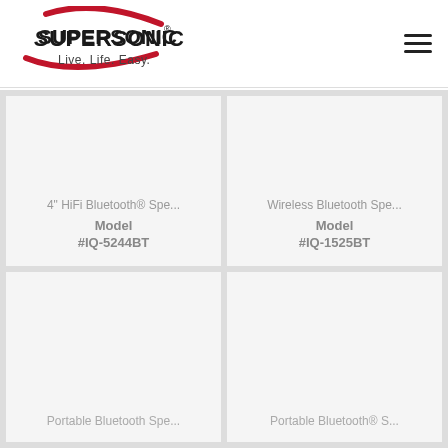[Figure (logo): SuperSonic logo with red swoosh, tagline 'Live. Life. Easy.']
4" HiFi Bluetooth® Spe...
Model
#IQ-5244BT
Wireless Bluetooth Spe...
Model
#IQ-1525BT
Portable Bluetooth Spe...
Portable Bluetooth® S...